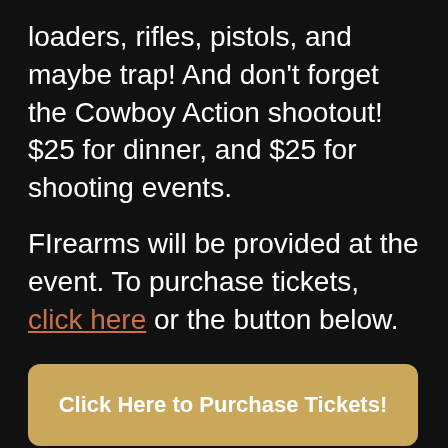loaders, rifles, pistols, and maybe trap! And don't forget the Cowboy Action shootout! $25 for dinner, and $25 for shooting events.
FIrearms will be provided at the event. To purchase tickets, click here or the button below.
Click Here to Purchase Tickets!